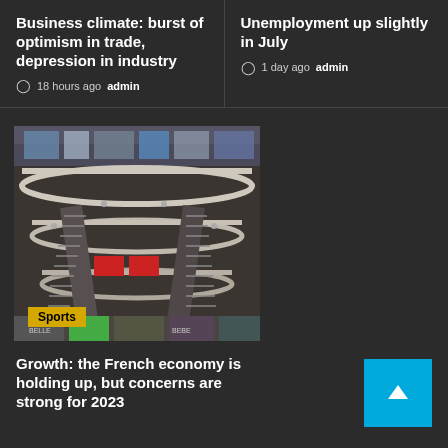Business climate: burst of optimism in trade, depression in industry
18 hours ago  admin
Unemployment up slightly in July
1 day ago  admin
[Figure (photo): Interior view of a multi-story shopping mall with escalators, curved balconies and stores visible across multiple floors. A yellow 'Sports' category badge appears at the bottom left.]
Growth: the French economy is holding up, but concerns are strong for 2023